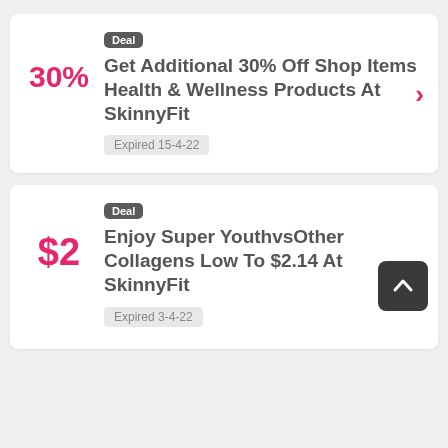Deal
Get Additional 30% Off Shop Items Health & Wellness Products At SkinnyFit
Expired 15-4-22
Deal
Enjoy Super YouthvsOther Collagens Low To $2.14 At SkinnyFit
Expired 3-4-22